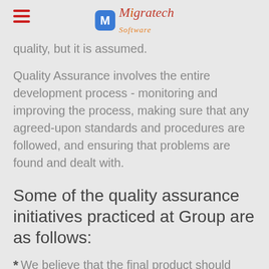Migratech [logo with hamburger menu]
quality, but it is assumed.
Quality Assurance involves the entire development process - monitoring and improving the process, making sure that any agreed-upon standards and procedures are followed, and ensuring that problems are found and dealt with.
Some of the quality assurance initiatives practiced at Group are as follows:
* We believe that the final product should